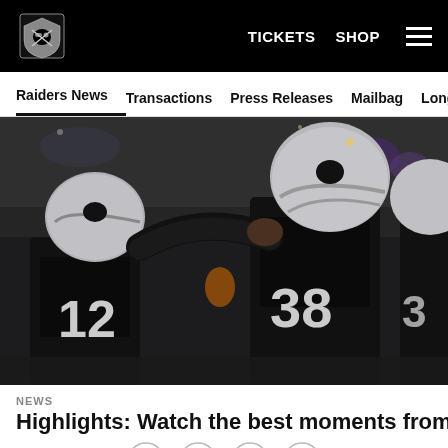TICKETS  SHOP  ☰
Raiders News  Transactions  Press Releases  Mailbag  Longform
[Figure (photo): Las Vegas Raiders players in black helmets and jerseys celebrating on field, numbers 12 and 38 visible, crowd in background]
NEWS
Highlights: Watch the best moments from
Social share icons: Facebook, Twitter, Email, Link